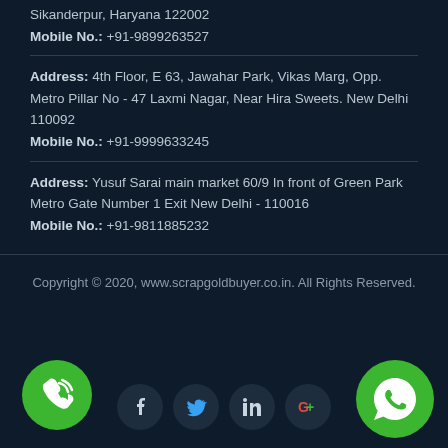Sikanderpur, Haryana 122002
Mobile No.: +91-9899263527
Address: 4th Floor, E 63, Jawahar Park, Vikas Marg, Opp. Metro Pillar No - 47 Laxmi Nagar, Near Hira Sweets. New Delhi 110092
Mobile No.: +91-9999633245
Address: Yusuf Sarai main market 60/9 In front of Green Park Metro Gate Number 1 Exit New Delhi - 110016
Mobile No.: +91-9811885232
Copyright © 2020, www.scrapgoldbuyer.co.in. All Rights Reserved.